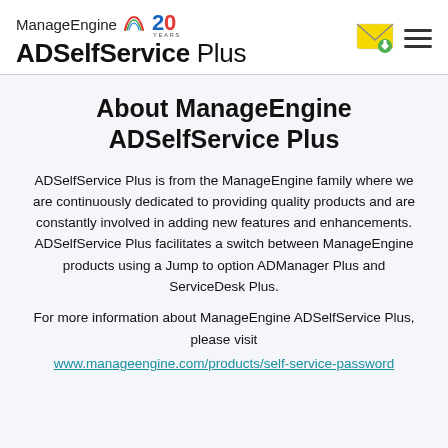ManageEngine ADSelfService Plus
About ManageEngine ADSelfService Plus
ADSelfService Plus is from the ManageEngine family where we are continuously dedicated to providing quality products and are constantly involved in adding new features and enhancements. ADSelfService Plus facilitates a switch between ManageEngine products using a Jump to option ADManager Plus and ServiceDesk Plus.
For more information about ManageEngine ADSelfService Plus, please visit
www.manageengine.com/products/self-service-password